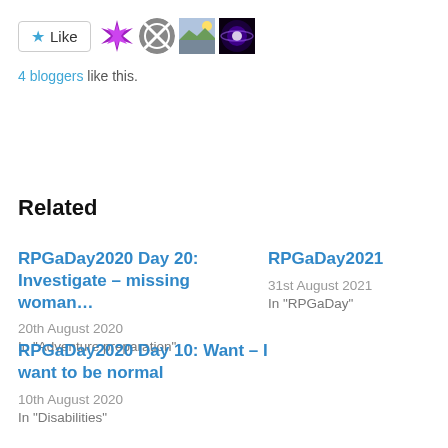[Figure (other): Like button with star icon and 4 blogger avatar thumbnails]
4 bloggers like this.
Related
RPGaDay2020 Day 20: Investigate – missing woman…
20th August 2020
In "Adventure preparation"
RPGaDay2021
31st August 2021
In "RPGaDay"
RPGaDay2020 Day 10: Want – I want to be normal
10th August 2020
In "Disabilities"